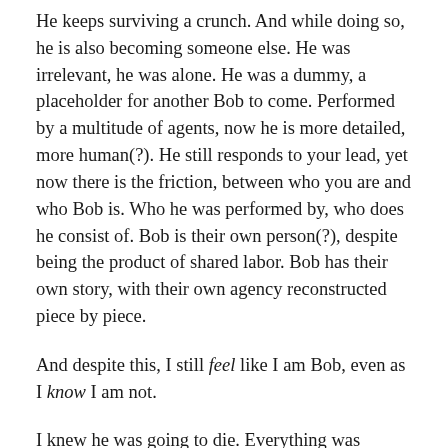He keeps surviving a crunch. And while doing so, he is also becoming someone else. He was irrelevant, he was alone. He was a dummy, a placeholder for another Bob to come. Performed by a multitude of agents, now he is more detailed, more human(?). He still responds to your lead, yet now there is the friction, between who you are and who Bob is. Who he was performed by, who does he consist of. Bob is their own person(?), despite being the product of shared labor. Bob has their own story, with their own agency reconstructed piece by piece.
And despite this, I still feel like I am Bob, even as I know I am not.
I knew he was going to die. Everything was pointing at it. And even though I didn't have a chance to distance myself. Given some